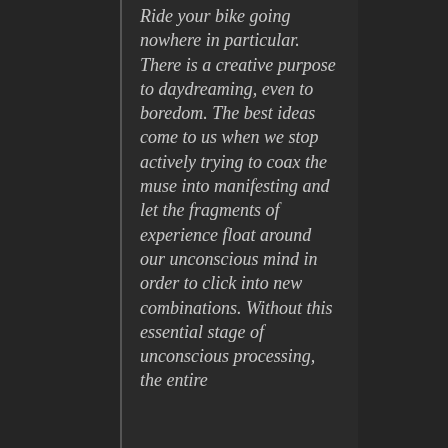Ride your bike going nowhere in particular. There is a creative purpose to daydreaming, even to boredom. The best ideas come to us when we stop actively trying to coax the muse into manifesting and let the fragments of experience float around our unconscious mind in order to click into new combinations. Without this essential stage of unconscious processing, the entire